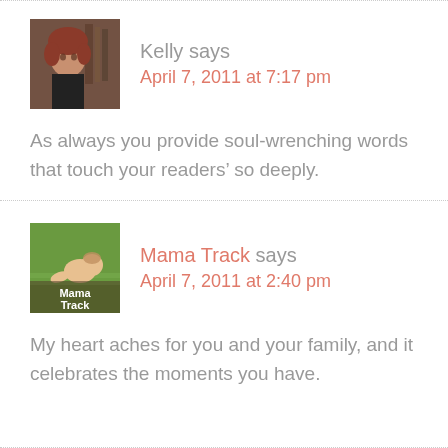[Figure (photo): Avatar photo of Kelly, a young woman with reddish/curly hair]
Kelly says
April 7, 2011 at 7:17 pm
As always you provide soul-wrenching words that touch your readers’ so deeply.
[Figure (photo): Avatar photo for Mama Track blog showing a baby crawling on grass with Mama Track text overlay]
Mama Track says
April 7, 2011 at 2:40 pm
My heart aches for you and your family, and it celebrates the moments you have.